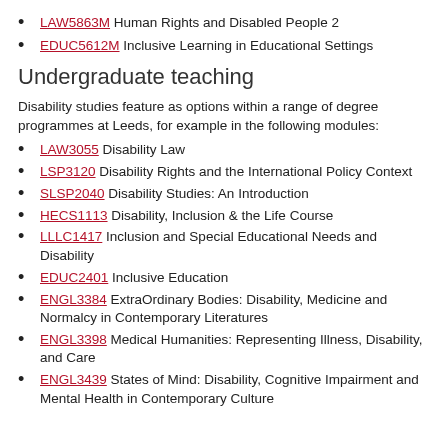LAW5863M Human Rights and Disabled People 2
EDUC5612M Inclusive Learning in Educational Settings
Undergraduate teaching
Disability studies feature as options within a range of degree programmes at Leeds, for example in the following modules:
LAW3055 Disability Law
LSP3120 Disability Rights and the International Policy Context
SLSP2040 Disability Studies: An Introduction
HECS1113 Disability, Inclusion & the Life Course
LLLC1417 Inclusion and Special Educational Needs and Disability
EDUC2401 Inclusive Education
ENGL3384 ExtraOrdinary Bodies: Disability, Medicine and Normalcy in Contemporary Literatures
ENGL3398 Medical Humanities: Representing Illness, Disability, and Care
ENGL3439 States of Mind: Disability, Cognitive Impairment and Mental Health in Contemporary Culture